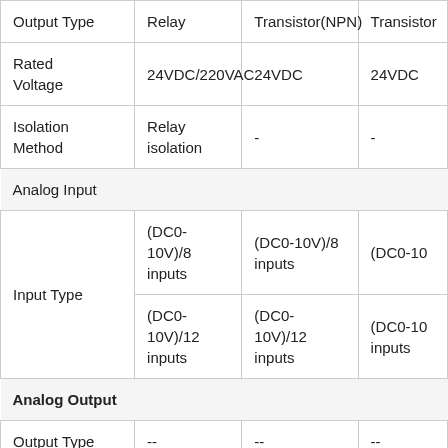| Output Type | Relay | Transistor(NPN) | Transistor(PNP) |
| --- | --- | --- | --- |
| Rated Voltage | 24VDC/220VAC | 24VDC | 24VDC |
| Isolation Method | Relay isolation | - | - |
| Analog Input |  |  |  |
| Input Type | (DC0-10V)/8 inputs
(DC0-10V)/12 inputs | (DC0-10V)/8 inputs
(DC0-10V)/12 inputs | (DC0-10V)/8 inputs
(DC0-10V)/12 inputs |
| Analog Output |  |  |  |
| Output Type | -- | -- | -- |
| A/D Conversion | -- | -- | -- |